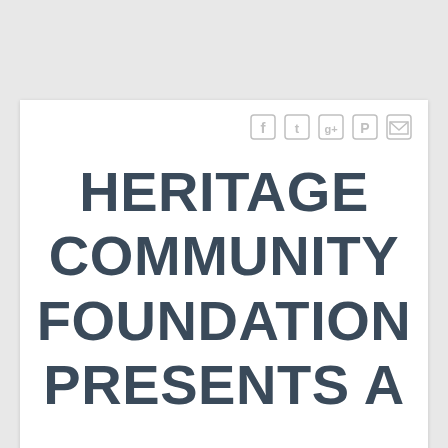[Figure (other): Social media share icons: Facebook, Twitter, Google+, Pinterest, Email]
HERITAGE COMMUNITY FOUNDATION PRESENTS A